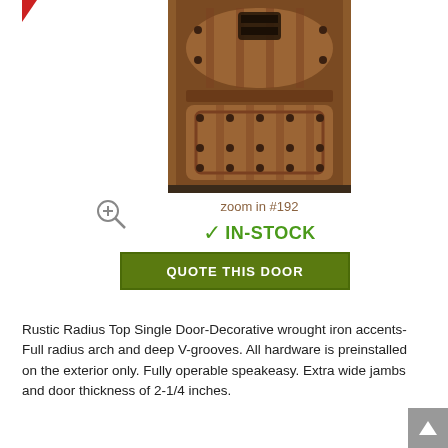[Figure (photo): Rustic radius top single wooden door with decorative wrought iron accents, full radius arch, deep V-grooves, and decorative hardware/knocker at top]
zoom in #192
✓ IN-STOCK
QUOTE THIS DOOR
Rustic Radius Top Single Door-Decorative wrought iron accents-Full radius arch and deep V-grooves. All hardware is preinstalled on the exterior only. Fully operable speakeasy. Extra wide jambs and door thickness of 2-1/4 inches.